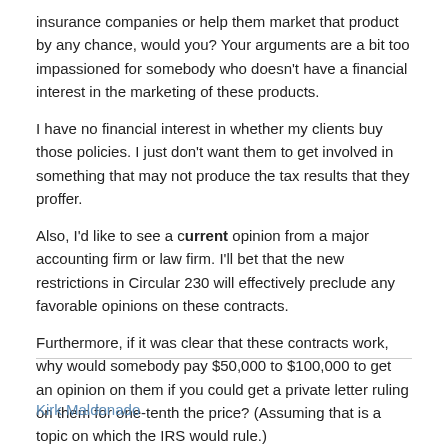insurance companies or help them market that product by any chance, would you? Your arguments are a bit too impassioned for somebody who doesn't have a financial interest in the marketing of these products.
I have no financial interest in whether my clients buy those policies. I just don't want them to get involved in something that may not produce the tax results that they proffer.
Also, I'd like to see a current opinion from a major accounting firm or law firm. I'll bet that the new restrictions in Circular 230 will effectively preclude any favorable opinions on these contracts.
Furthermore, if it was clear that these contracts work, why would somebody pay $50,000 to $100,000 to get an opinion on them if you could get a private letter ruling on them for one-tenth the price? (Assuming that is a topic on which the IRS would rule.)
Kirk Maldonado